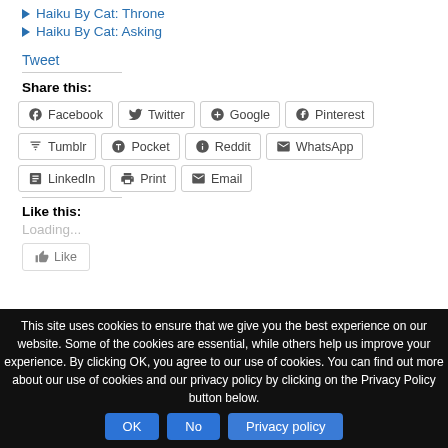Haiku By Cat: Throne
Haiku By Cat: Asking
Tweet
Share this:
Facebook  Twitter  Google  Pinterest  Tumblr  Pocket  Reddit  WhatsApp  LinkedIn  Print  Email
Like this:
Loading...
This site uses cookies to ensure that we give you the best experience on our website. Some of the cookies are essential, while others help us improve your experience. By clicking OK, you agree to our use of cookies. You can find out more about our use of cookies and our privacy policy by clicking on the Privacy Policy button below.
OK  No  Privacy policy